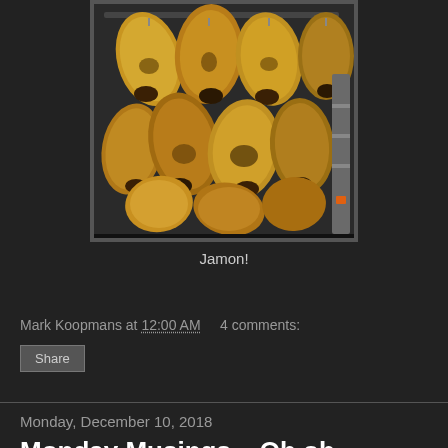[Figure (photo): Photo of multiple cured ham legs (jamon) hanging from a rack in a store or curing room. The hams have golden-yellow skin and dark hooves, densely packed on metal hooks against a dark background.]
Jamon!
Mark Koopmans at 12:00 AM   4 comments:
Share
Monday, December 10, 2018
Monday Musings... Oh oh...